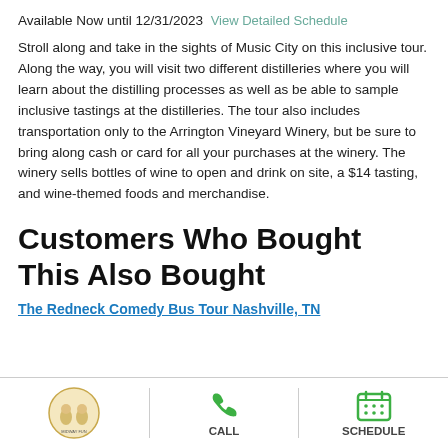Available Now until 12/31/2023  View Detailed Schedule
Stroll along and take in the sights of Music City on this inclusive tour. Along the way, you will visit two different distilleries where you will learn about the distilling processes as well as be able to sample inclusive tastings at the distilleries. The tour also includes transportation only to the Arrington Vineyard Winery, but be sure to bring along cash or card for all your purchases at the winery. The winery sells bottles of wine to open and drink on site, a $14 tasting, and wine-themed foods and merchandise.
Customers Who Bought This Also Bought
The Redneck Comedy Bus Tour Nashville, TN
[Figure (logo): Midway Fun Network logo with two cartoon characters]
[Figure (illustration): Green phone call icon with label CALL]
[Figure (illustration): Green calendar/schedule icon with label SCHEDULE]